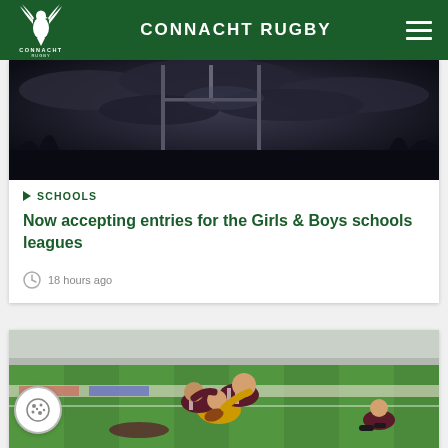CONNACHT RUGBY
[Figure (photo): Dark moody sky over rugby goalposts at dusk]
SCHOOLS
Now accepting entries for the Girls & Boys schools leagues
18 hours ago
[Figure (photo): Rugby match action photo showing players tackling on a green pitch]